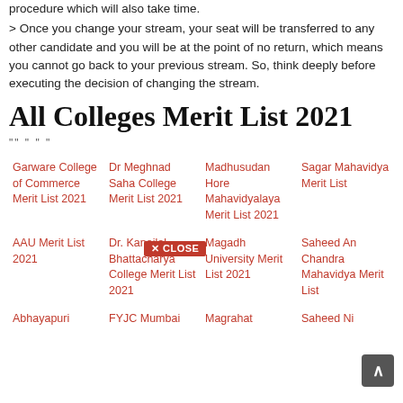procedure which will also take time.
> Once you change your stream, your seat will be transferred to any other candidate and you will be at the point of no return, which means you cannot go back to your previous stream. So, think deeply before executing the decision of changing the stream.
All Colleges Merit List 2021
"" " " "
Garware College of Commerce Merit List 2021
Dr Meghnad Saha College Merit List 2021
Madhusudan Hore Mahavidyalaya Merit List 2021
Sagar Mahavidya Merit List
AAU Merit List 2021
Dr. Kanailal Bhattacharya College Merit List 2021
Magadh University Merit List 2021
Saheed Ananda Chandra Mahavidya Merit List
Abhayapuri
FYJC Mumbai
Magrahat
Saheed Ni